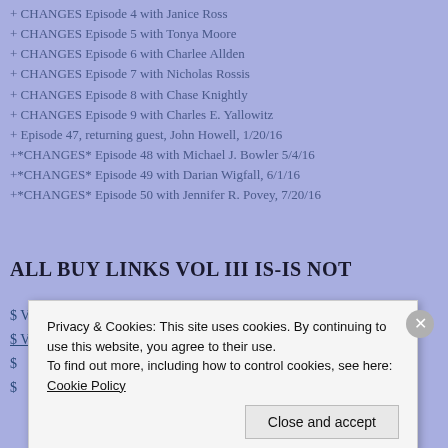+ CHANGES Episode 4 with Janice Ross
+ CHANGES Episode 5 with Tonya Moore
+ CHANGES Episode 6 with Charlee Allden
+ CHANGES Episode 7 with Nicholas Rossis
+ CHANGES Episode 8 with Chase Knightly
+ CHANGES Episode 9 with Charles E. Yallowitz
+ Episode 47, returning guest, John Howell, 1/20/16
+*CHANGES* Episode 48 with Michael J. Bowler 5/4/16
+*CHANGES* Episode 49 with Darian Wigfall, 6/1/16
+*CHANGES* Episode 50 with Jennifer R. Povey, 7/20/16
ALL BUY LINKS VOL III IS-IS NOT
$ Vol III on Amazon
$ Vol III on iBooks
$ ...
$ ...
Privacy & Cookies: This site uses cookies. By continuing to use this website, you agree to their use.
To find out more, including how to control cookies, see here: Cookie Policy
Close and accept